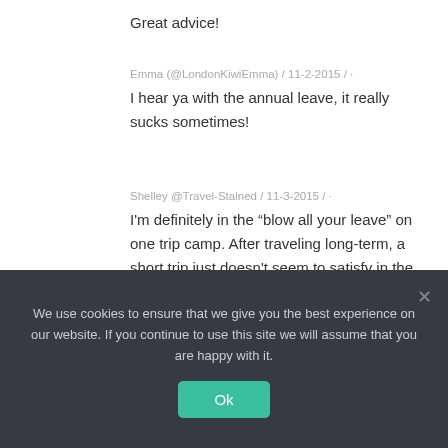Great advice!
Emma (@LondonKiwiEmma) / 11-2-2015 / ·
I hear ya with the annual leave, it really sucks sometimes!
Shelley @Travel-Stained / 11-3-2015 / ·
I'm definitely in the “blow all your leave” on one trip camp. After traveling long-term, a short trip just doesn't seem to satisfy in the same way, does it?
We use cookies to ensure that we give you the best experience on our website. If you continue to use this site we will assume that you are happy with it.
Ok